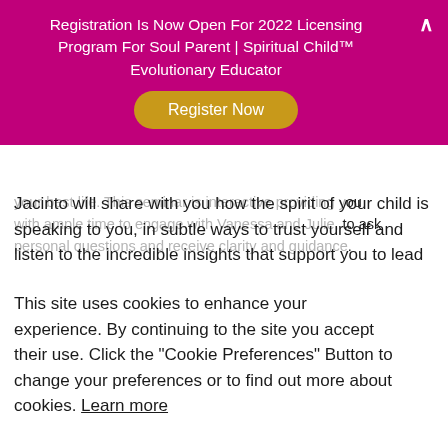Registration Is Now Open For 2022 Licensing Program For Soul Parent | Spiritual Child™ Evolutionary Educator
Register Now
Jacinto will share with you how the spirit of your child is speaking to you, in subtle ways to trust yourself and listen to the incredible insights that support you to lead your best life. This seminar is interactive providing you with ample time to engage with Vanessa and Julie, to ask personal questions and receive clarity and guidance.
This site uses cookies to enhance your experience. By continuing to the site you accept their use. Click the "Cookie Preferences" Button to change your preferences or to find out more about cookies. Learn more
WHO SHOULD ATTEND?
Women who are trying to consciously conceive a child who is currently pregnant, recently have given birth, a seasoned Mother who is seeking support